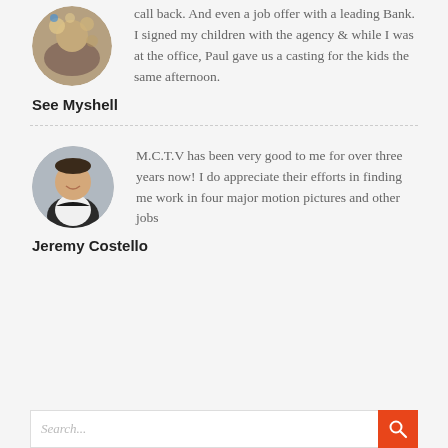[Figure (photo): Circular cropped photo of a person (top, partially visible), with decorative background]
call back. And even a job offer with a leading Bank.
I signed my children with the agency & while I was at the office, Paul gave us a casting for the kids the same afternoon.
See Myshell
[Figure (photo): Circular cropped photo of a young man in a white shirt and dark jacket, smiling]
M.C.T.V has been very good to me for over three years now! I do appreciate their efforts in finding me work in four major motion pictures and other jobs
Jeremy Costello